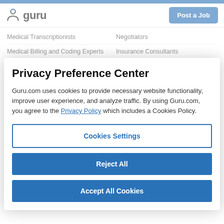guru — Post a Job
Medical Transcriptionists
Negotiators
Medical Billing and Coding Experts
Insurance Consultants
Nurses
Legal Transcriptionists
Legal Assistants
Employment Contractors
Privacy Preference Center
Guru.com uses cookies to provide necessary website functionality, improve user experience, and analyze traffic. By using Guru.com, you agree to the Privacy Policy which includes a Cookies Policy.
Cookies Settings
Reject All
Accept All Cookies